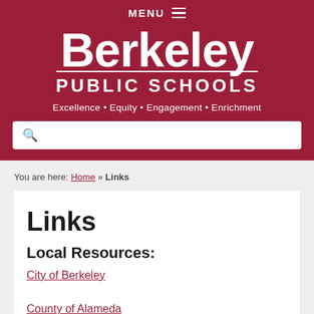MENU ≡
[Figure (logo): Berkeley Public Schools logo with tagline: Excellence • Equity • Engagement • Enrichment]
You are here: Home » Links
Links
Local Resources:
City of Berkeley
County of Alameda